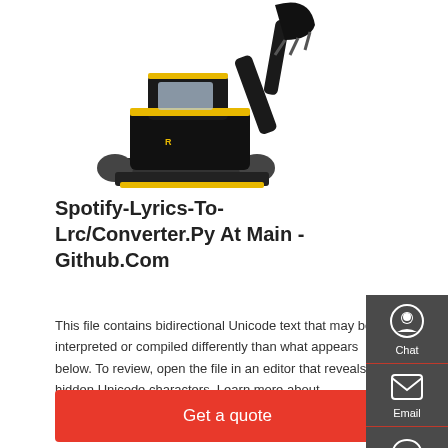[Figure (photo): Mini excavator / construction equipment product photo on white background, showing yellow and black mini digger with bucket attachment and tracks]
Spotify-Lyrics-To-Lrc/Converter.Py At Main - Github.Com
This file contains bidirectional Unicode text that may be interpreted or compiled differently than what appears below. To review, open the file in an editor that reveals hidden Unicode characters. Learn more about bidirectional Unicode characters
[Figure (infographic): Dark grey sidebar panel with three contact options: Chat (headset icon), Email (envelope icon), Contact (speech bubble icon), separated by red lines]